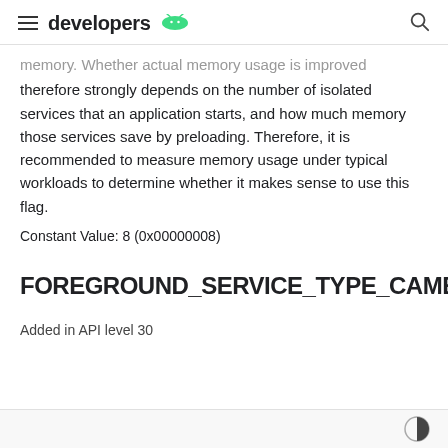developers
memory. Whether actual memory usage is improved therefore strongly depends on the number of isolated services that an application starts, and how much memory those services save by preloading. Therefore, it is recommended to measure memory usage under typical workloads to determine whether it makes sense to use this flag.
Constant Value: 8 (0x00000008)
FOREGROUND_SERVICE_TYPE_CAMERA
Added in API level 30